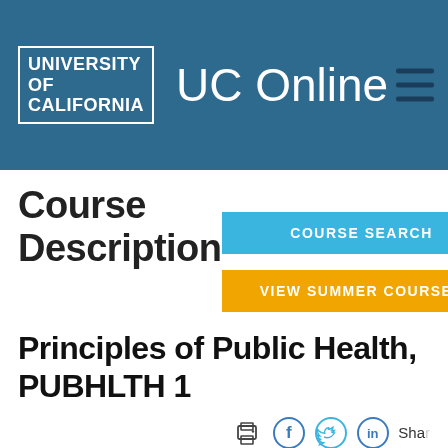[Figure (logo): University of California UC Online header with logo and navigation hamburger menu]
Course Description
COURSE SEARCH
VIEW SUMMER COURSES
Principles of Public Health, PUBHLTH 1
[Figure (infographic): Social share icons: print, Facebook, Twitter, LinkedIn, Share]
Syllabus
Notify me when available